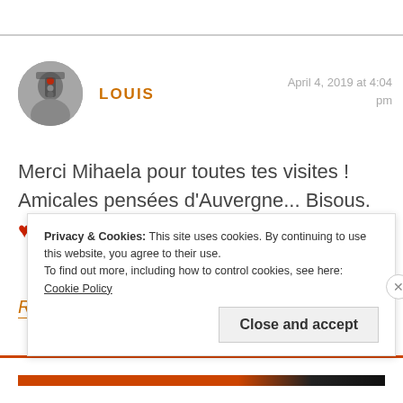[Figure (photo): Circular avatar photo of user Louis, black and white image of a person, with a small red traffic light element visible]
LOUIS
April 4, 2019 at 4:04 pm
Merci Mihaela pour toutes tes visites ! Amicales pensées d'Auvergne... Bisous. ❤
Reply
Privacy & Cookies: This site uses cookies. By continuing to use this website, you agree to their use.
To find out more, including how to control cookies, see here: Cookie Policy
Close and accept